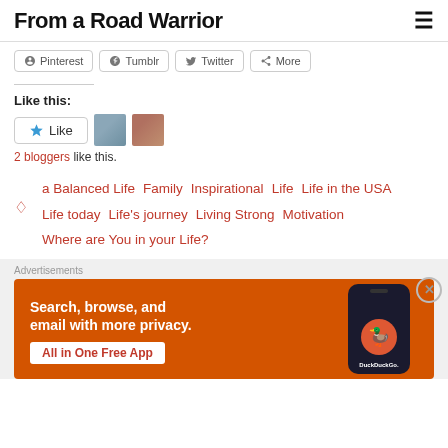From a Road Warrior
Pinterest  Tumblr  Twitter  More
Like this:
2 bloggers like this.
a Balanced Life  Family  Inspirational  Life  Life in the USA  Life today  Life's journey  Living Strong  Motivation  Where are You in your Life?
[Figure (other): DuckDuckGo advertisement banner: Search, browse, and email with more privacy. All in One Free App]
Advertisements